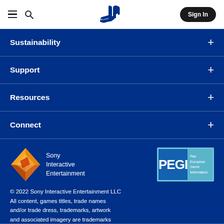PlayStation navigation header with hamburger menu, search icon, PlayStation logo, and Sign In button
Sustainability
Support
Resources
Connect
[Figure (logo): Sony Interactive Entertainment diamond logo (orange and red gradient) with text 'Sony Interactive Entertainment']
[Figure (logo): PEGI logo - Pan European Game Information]
© 2022 Sony Interactive Entertainment LLC All content, games titles, trade names and/or trade dress, trademarks, artwork and associated imagery are trademarks and/or copyright material of their respective owners. All rights reserved. More info